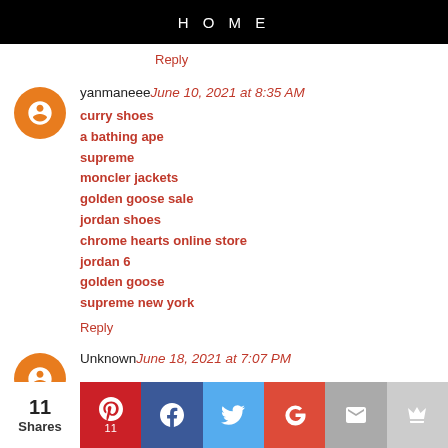HOME
Reply
yanmaneee June 10, 2021 at 8:35 AM
curry shoes
a bathing ape
supreme
moncler jackets
golden goose sale
jordan shoes
chrome hearts online store
jordan 6
golden goose
supreme new york
Reply
Unknown June 18, 2021 at 7:07 PM
11 Shares | Pinterest 11 | Facebook | Twitter | G+ | Mail | Crown